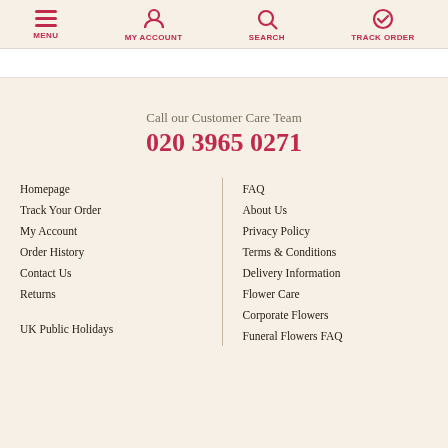MENU | MY ACCOUNT | SEARCH | TRACK ORDER
Call our Customer Care Team
020 3965 0271
Homepage
Track Your Order
My Account
Order History
Contact Us
Returns
UK Public Holidays
FAQ
About Us
Privacy Policy
Terms & Conditions
Delivery Information
Flower Care
Corporate Flowers
Funeral Flowers FAQ